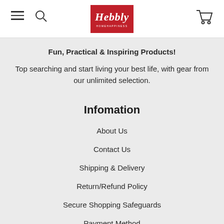Hebbly — navigation header with hamburger menu, search, logo, and cart
Fun, Practical & Inspiring Products!
Top searching and start living your best life, with gear from our unlimited selection.
Infomation
About Us
Contact Us
Shipping & Delivery
Return/Refund Policy
Secure Shopping Safeguards
Payment Method
Privacy Policy
Terms and Conditions